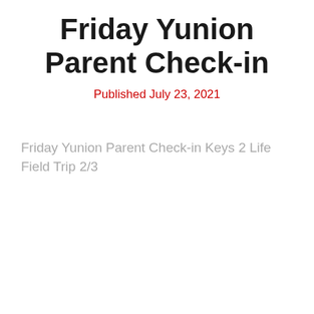Friday Yunion Parent Check-in
Published July 23, 2021
Friday Yunion Parent Check-in Keys 2 Life Field Trip 2/3